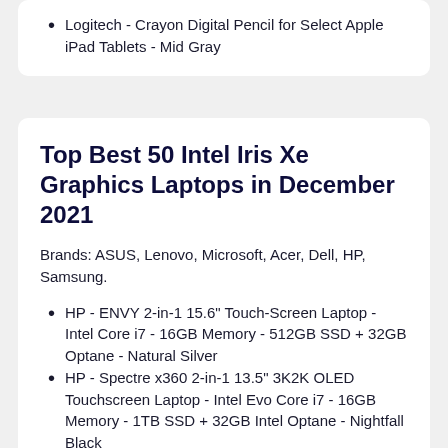Logitech - Crayon Digital Pencil for Select Apple iPad Tablets - Mid Gray
Top Best 50 Intel Iris Xe Graphics Laptops in December 2021
Brands: ASUS, Lenovo, Microsoft, Acer, Dell, HP, Samsung.
HP - ENVY 2-in-1 15.6" Touch-Screen Laptop - Intel Core i7 - 16GB Memory - 512GB SSD + 32GB Optane - Natural Silver
HP - Spectre x360 2-in-1 13.5" 3K2K OLED Touchscreen Laptop - Intel Evo Core i7 - 16GB Memory - 1TB SSD + 32GB Intel Optane - Nightfall Black